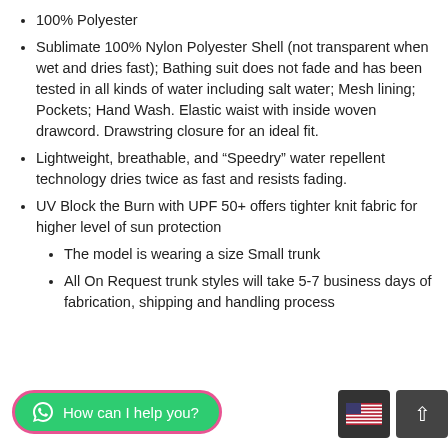100% Polyester
Sublimate 100% Nylon Polyester Shell (not transparent when wet and dries fast); Bathing suit does not fade and has been tested in all kinds of water including salt water; Mesh lining; Pockets; Hand Wash. Elastic waist with inside woven drawcord. Drawstring closure for an ideal fit.
Lightweight, breathable, and “Speedry” water repellent technology dries twice as fast and resists fading.
UV Block the Burn with UPF 50+ offers tighter knit fabric for higher level of sun protection
The model is wearing a size Small trunk
All On Request trunk styles will take 5-7 business days of fabrication, shipping and handling process
[Figure (screenshot): WhatsApp chat button reading 'How can I help you?' in green pill shape with pink border, plus a US flag button and an up-arrow scroll button in dark grey]